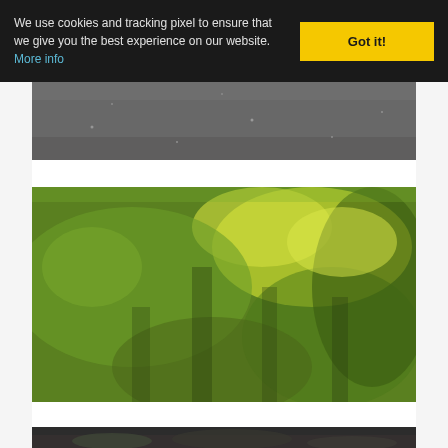We use cookies and tracking pixel to ensure that we give you the best experience on our website. More info
[Figure (photo): Close-up photograph of dark asphalt or gravel road surface texture, grey-black granular material]
[Figure (photo): Aerial or close-up photograph of dense green vegetation or moss/grass covering ground, with yellow-green and brown-green tones]
[Figure (photo): Partially visible photograph at bottom of page, showing dark tones suggesting trees or forest]